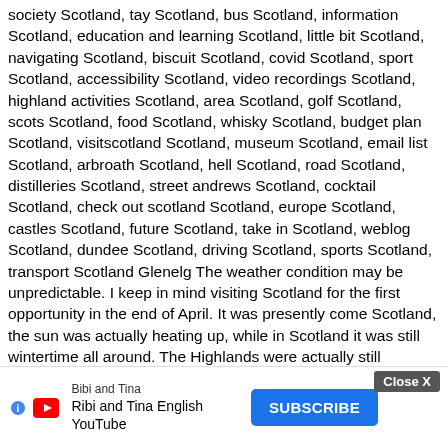society Scotland, tay Scotland, bus Scotland, information Scotland, education and learning Scotland, little bit Scotland, navigating Scotland, biscuit Scotland, covid Scotland, sport Scotland, accessibility Scotland, video recordings Scotland, highland activities Scotland, area Scotland, golf Scotland, scots Scotland, food Scotland, whisky Scotland, budget plan Scotland, visitscotland Scotland, museum Scotland, email list Scotland, arbroath Scotland, hell Scotland, road Scotland, distilleries Scotland, street andrews Scotland, cocktail Scotland, check out scotland Scotland, europe Scotland, castles Scotland, future Scotland, take in Scotland, weblog Scotland, dundee Scotland, driving Scotland, sports Scotland, transport Scotland Glenelg The weather condition may be unpredictable. I keep in mind visiting Scotland for the first opportunity in the end of April. It was presently come Scotland, the sun was actually heating up, while in Scotland it was still wintertime all around. The Highlands were actually still covered in snowfall in numerous spots, and in Edinburgh it was actually piercingly storm. Naturally, it turned out today that I had not stuffed the right points. I was actually considering to remain in the city, yet additionally ballet apartments, flipflops, aesthetic coats as well as slim shirts fall off in springtime. When taking a trip in Scotland, to begin with of all really good, waterproof, sporting activities footwear. A good raincoat (and also windproof!) Will certainly also be available in helpful, occasionally it is actually likewise worth adding a slim headscarf, a sports hat and also sporting activities gloves to the bag (springtime and also autumn). In winter season, I propose staying away from Scotland from a range. Why? The response is easy: it pours as well as impacts. In the scenario of a low-budget excursion, sleeping in a camping tent or even keep merely in hotels (price regarding PLN 80 per evening).. Whiskey visit at minimum one distillery and also order fish and also chips with white vinegar at the very least as soon as. I really hope that along with this post I promoted you to take a trip to Scotland. I additionally wish to go to, if merely I also... Loch Lomond
[Figure (other): Advertisement bar at the bottom of the page. Shows 'Bibi and Tina' YouTube channel ad with a Subscribe button in blue, a Close X button in grey, YouTube icon, and Google AdChoices icon.]